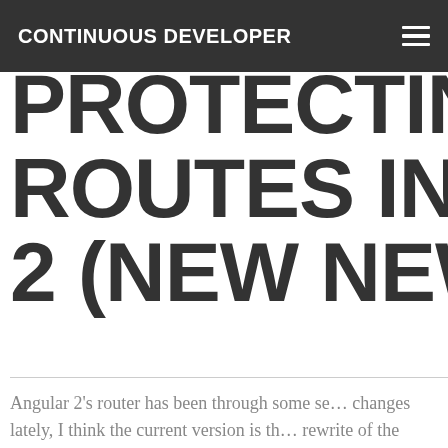CONTINUOUS DEVELOPER
PROTECTING ROUTES IN ANGULAR 2 (NEW NEW ROUTER…
Angular 2's router has been through some serious changes lately, I think the current version is the rewrite of the original beta router. I've been using a medium sized project at work and I'm really liking it so far. One thing I needed was to be able…
Read more →